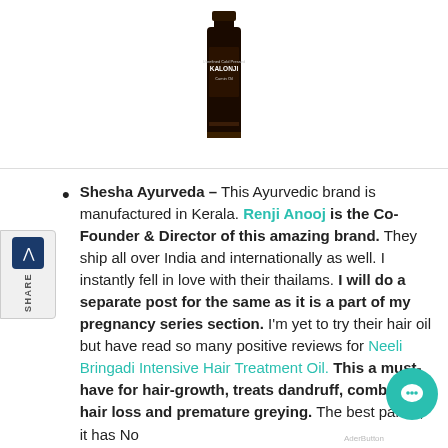[Figure (photo): Dark glass bottle of Kalonji Cumin Oil product on white background]
Shesha Ayurveda – This Ayurvedic brand is manufactured in Kerala. Renji Anooj is the Co-Founder & Director of this amazing brand. They ship all over India and internationally as well. I instantly fell in love with their thailams. I will do a separate post for the same as it is a part of my pregnancy series section. I'm yet to try their hair oil but have read so many positive reviews for Neeli Bringadi Intensive Hair Treatment Oil. This a must-have for hair-growth, treats dandruff, combats hair loss and premature greying. The best part is, it has No